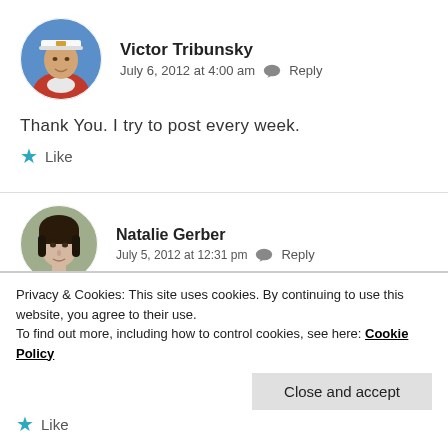[Figure (photo): Circular avatar photo of Victor Tribunsky, a man in a red shirt and white captain's hat]
Victor Tribunsky
July 6, 2012 at 4:00 am  Reply
Thank You. I try to post every week.
★ Like
[Figure (photo): Circular avatar photo of Natalie Gerber, a woman with dark hair]
Natalie Gerber
July 5, 2012 at 12:31 pm  Reply
Privacy & Cookies: This site uses cookies. By continuing to use this website, you agree to their use.
To find out more, including how to control cookies, see here: Cookie Policy
Close and accept
★ Like